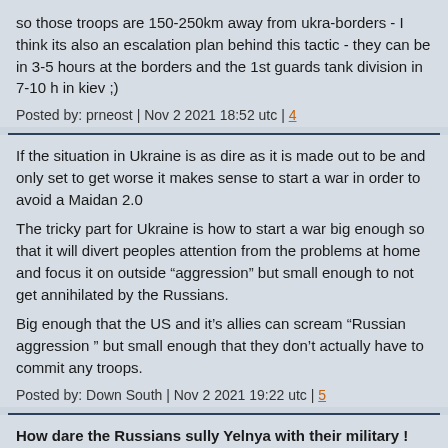so those troops are 150-250km away from ukra-borders - I think its also an escalation plan behind this tactic - they can be in 3-5 hours at the borders and the 1st guards tank division in 7-10 h in kiev ;)
Posted by: prneost | Nov 2 2021 18:52 utc | 4
If the situation in Ukraine is as dire as it is made out to be and only set to get worse it makes sense to start a war in order to avoid a Maidan 2.0
The tricky part for Ukraine is how to start a war big enough so that it will divert peoples attention from the problems at home and focus it on outside “aggression” but small enough to not get annihilated by the Russians.
Big enough that the US and it’s allies can scream “Russian aggression ” but small enough that they don’t actually have to commit any troops.
Posted by: Down South | Nov 2 2021 19:22 utc | 5
How dare the Russians sully Yelnya with their military !
Too bad Pence or Pompeo aren't around to give one of their buffoonish speeches about 'Russian aggression'